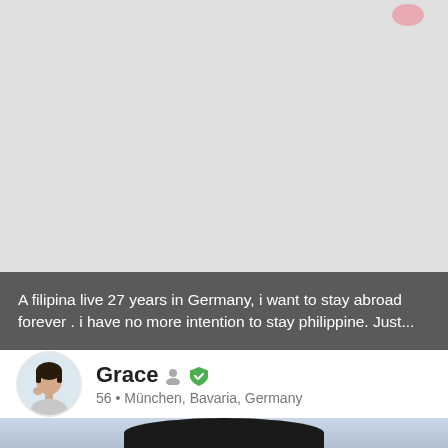[Figure (photo): Light gray background area with a small pink blob shape in the upper right corner, representing a cropped social media or dating profile photo background]
A filipina live 27 years in Germany, i want to stay abroad forever . i have no more intention to stay philippine. Just...
Grace • 56 • München, Bavaria, Germany
[Figure (photo): Bottom portion of a person's head showing dark hair against a light blue background]